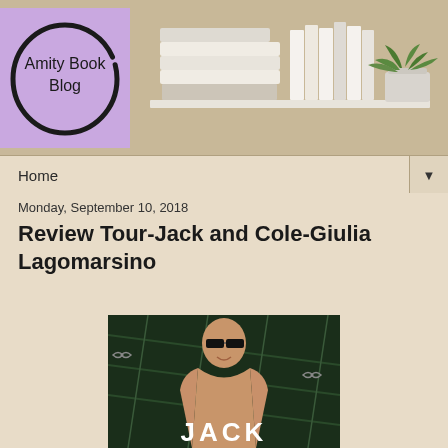[Figure (logo): Amity Book Blog logo: black circle brush stroke on purple/lavender background with handwritten text 'Amity Book Blog']
[Figure (photo): Header banner photo showing white books stacked horizontally and standing upright on a white surface with a green trailing plant in a white pot, sandy/beige textured background]
Home ▼
Monday, September 10, 2018
Review Tour-Jack and Cole-Giulia Lagomarsino
[Figure (photo): Book cover for 'Jack' by Giulia Lagomarsino showing a shirtless muscular man wearing sunglasses in front of a dark green background with wire/chain elements. The word JACK appears in bold white text at the bottom.]